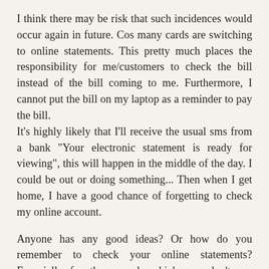I think there may be risk that such incidences would occur again in future. Cos many cards are switching to online statements. This pretty much places the responsibility for me/customers to check the bill instead of the bill coming to me. Furthermore, I cannot put the bill on my laptop as a reminder to pay the bill.
It's highly likely that I'll receive the usual sms from a bank "Your electronic statement is ready for viewing", this will happen in the middle of the day. I could be out or doing something... Then when I get home, I have a good chance of forgetting to check my online account.
Anyone has any good ideas? Or how do you remember to check your online statements? Especially for those cards which you don't use regularly.
For example, I don't use my Citibank card regularly. Since I don't use it on a regular basis, I don't bother to check online